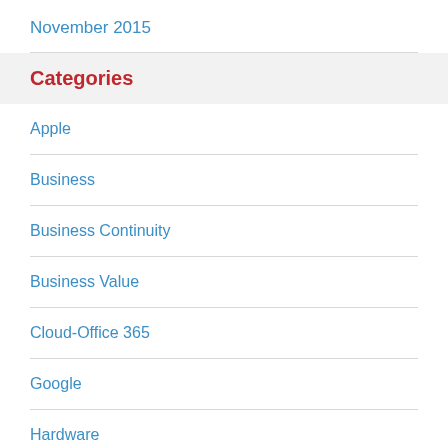November 2015
Categories
Apple
Business
Business Continuity
Business Value
Cloud-Office 365
Google
Hardware